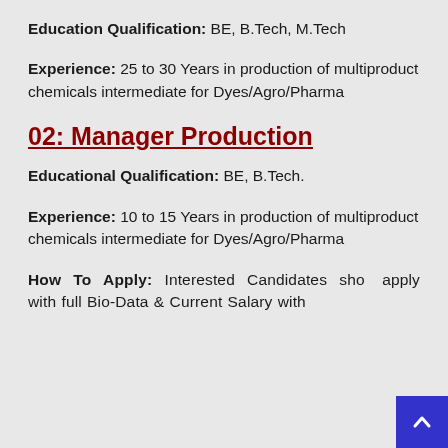Education Qualification: BE, B.Tech, M.Tech
Experience: 25 to 30 Years in production of multiproduct chemicals intermediate for Dyes/Agro/Pharma
02: Manager Production
Educational Qualification: BE, B.Tech.
Experience: 10 to 15 Years in production of multiproduct chemicals intermediate for Dyes/Agro/Pharma
How To Apply: Interested Candidates sho apply with full Bio-Data & Current Salary within